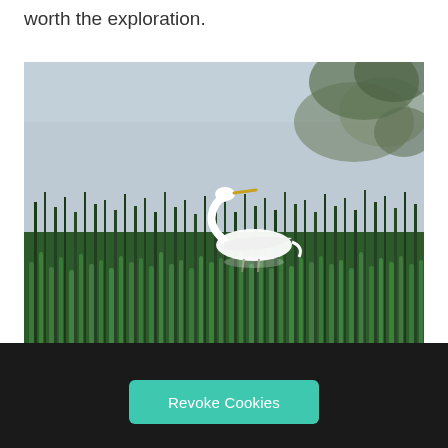worth the exploration.
[Figure (photo): A white egret bird standing among tall green reeds/cattails at the edge of a marsh or wetland, with calm water and tree reflections visible in the background.]
...about the wildlife...
Revoke Cookies